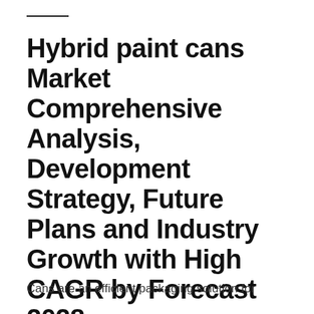Hybrid paint cans Market Comprehensive Analysis, Development Strategy, Future Plans and Industry Growth with High CAGR by Forecast 2028
Cans are an efficient packaging solution for